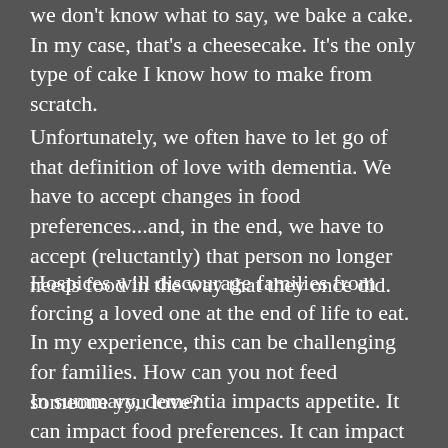we don't know what to say, we bake a cake. In my case, that's a cheesecake. It's the only type of cake I know how to make from scratch.
Unfortunately, we often have to let go of that definition of love with dementia. We have to accept changes in food preferences…and, in the end, we have to accept (reluctantly) that person no longer needs food in the way that they once did.
Hospices will discourage families from forcing a loved one at the end of life to eat. In my experience, this can be challenging for families. How can you not feed someone you love?
In summary, dementia impacts appetite. It can impact food preferences. It can impact swallowing and the fine motor skills required to feed one's self.